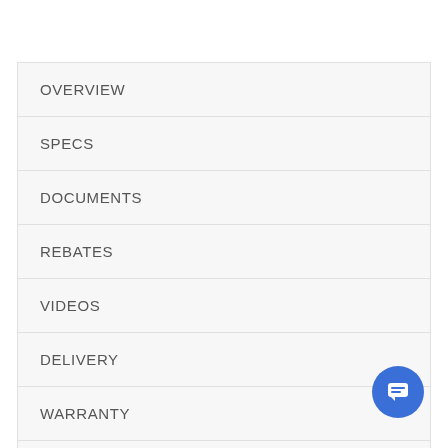OVERVIEW
SPECS
DOCUMENTS
REBATES
VIDEOS
DELIVERY
WARRANTY
REVIEWS (30)